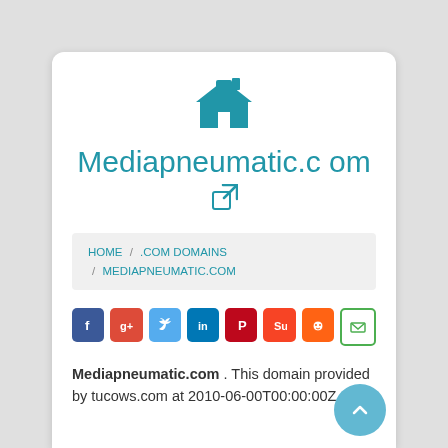[Figure (logo): Blue house/home icon]
Mediapneumatic.com
HOME / .COM DOMAINS / MEDIAPNEUMATIC.COM
[Figure (infographic): Social sharing buttons: Facebook, Google+, Twitter, LinkedIn, Pinterest, StumbleUpon, Reddit, Email]
Mediapneumatic.com . This domain provided by tucows.com at 2010-06-00T00:00:00Z ...